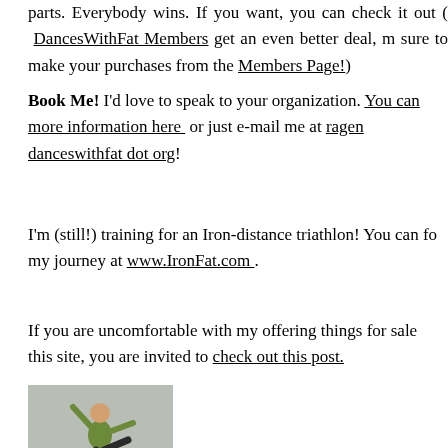parts. Everybody wins. If you want, you can check it out ( DancesWithFat Members get an even better deal, make sure to make your purchases from the Members Page!)
Book Me! I'd love to speak to your organization. You can find more information here or just e-mail me at ragen at danceswithfat dot org!
I'm (still!) training for an Iron-distance triathlon! You can follow my journey at www.IronFat.com .
If you are uncomfortable with my offering things for sale on this site, you are invited to check out this post.
[Figure (photo): A person in a yellow top and black pants doing a dance pose with one leg raised and arms extended.]